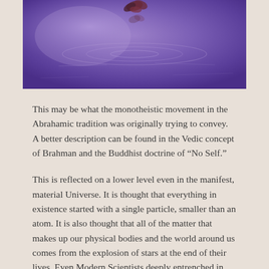[Figure (photo): Purple-toned photograph of a water surface with a flower reflection, taken from above. Dominant violet/purple hues with a flower or leaf visible near the top center.]
This may be what the monotheistic movement in the Abrahamic tradition was originally trying to convey.  A better description can be found in the Vedic concept of Brahman and the Buddhist doctrine of “No Self.”
This is reflected on a lower level even in the manifest, material Universe. It is thought that everything in existence started with a single particle, smaller than an atom. It is also thought that all of the matter that makes up our physical bodies and the world around us comes from the explosion of stars at the end of their lives. Even Modern Scientists deeply entrenched in